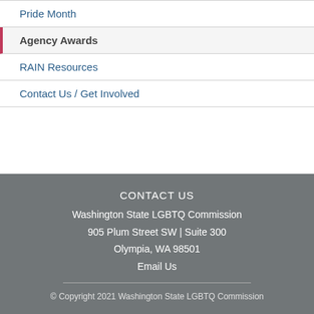Pride Month
Agency Awards
RAIN Resources
Contact Us / Get Involved
CONTACT US
Washington State LGBTQ Commission
905 Plum Street SW | Suite 300
Olympia, WA 98501
Email Us
© Copyright 2021 Washington State LGBTQ Commission